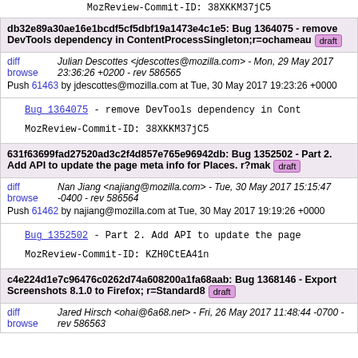MozReview-Commit-ID: 38XKKM37jC5
db32e89a30ae16e1bcdf5cf5dbf19a1473e4c1e5: Bug 1364075 - remove DevTools dependency in ContentProcessSingleton;r=ochameau [draft]
diff browse  Julian Descottes <jdescottes@mozilla.com> - Mon, 29 May 2017 23:36:26 +0200 - rev 586565
Push 61463 by jdescottes@mozilla.com at Tue, 30 May 2017 19:23:26 +0000
Bug_1364075 - remove DevTools dependency in Cont...
MozReview-Commit-ID: 38XKKM37jC5
631f63699fad27520ad3c2f4d857e765e96942db: Bug 1352502 - Part 2. Add API to update the page meta info for Places. r?mak [draft]
diff browse  Nan Jiang <najiang@mozilla.com> - Tue, 30 May 2017 15:15:47 -0400 - rev 586564
Push 61462 by najiang@mozilla.com at Tue, 30 May 2017 19:19:26 +0000
Bug_1352502 - Part 2. Add API to update the page...
MozReview-Commit-ID: KZH0CtEA41n
c4e224d1e7c96476c0262d74a608200a1fa68aab: Bug 1368146 - Export Screenshots 8.1.0 to Firefox; r=Standard8 [draft]
diff browse  Jared Hirsch <ohai@6a68.net> - Fri, 26 May 2017 11:48:44 -0700 - rev 586563